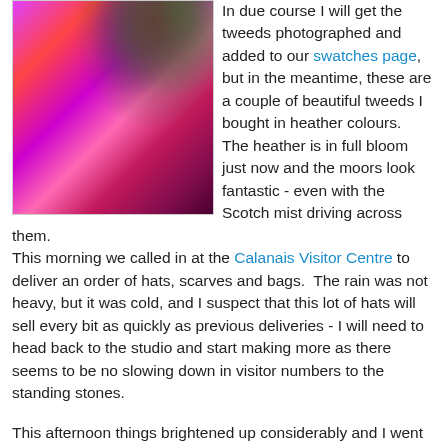[Figure (photo): Close-up photo of pink/magenta Harris Tweed fabric with heather flowers in the background]
In due course I will get the tweeds photographed and added to our swatches page, but in the meantime, these are a couple of beautiful tweeds I bought in heather colours.  The heather is in full bloom just now and the moors look fantastic - even with the Scotch mist driving across them.
This morning we called in at the Calanais Visitor Centre to deliver an order of hats, scarves and bags.  The rain was not heavy, but it was cold, and I suspect that this lot of hats will sell every bit as quickly as previous deliveries - I will need to head back to the studio and start making more as there seems to be no slowing down in visitor numbers to the standing stones.
This afternoon things brightened up considerably and I went up to the Butt of Lewis to visit Callum Maclean and collect some interesting tweed he had woven for me.  I have yet to